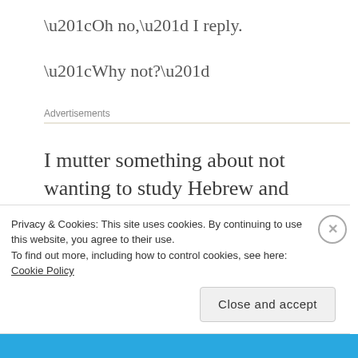“Oh no,” I reply.
“Why not?”
Advertisements
I mutter something about not wanting to study Hebrew and Aramaic, which
Privacy & Cookies: This site uses cookies. By continuing to use this website, you agree to their use.
To find out more, including how to control cookies, see here: Cookie Policy
Close and accept